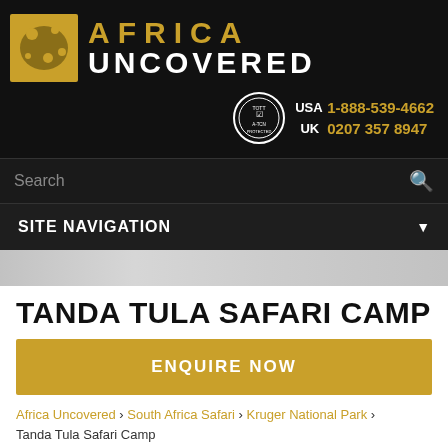[Figure (logo): Africa Uncovered logo with golden giraffe/animal silhouette icon and text 'AFRICA UNCOVERED' in gold and white on black background]
USA 1-888-539-4662
UK 0207 357 8947
Search
SITE NAVIGATION
TANDA TULA SAFARI CAMP
ENQUIRE NOW
Africa Uncovered › South Africa Safari › Kruger National Park › Tanda Tula Safari Camp